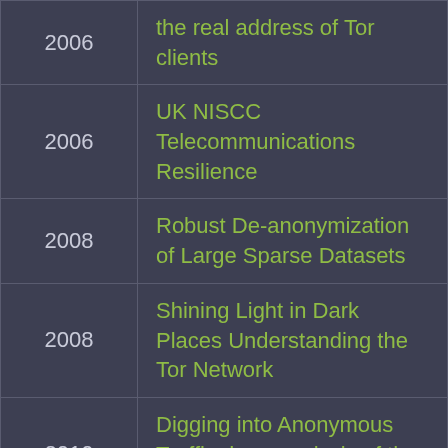| Year | Title |
| --- | --- |
| 2006 | the real address of Tor clients |
| 2006 | UK NISCC Telecommunications Resilience |
| 2008 | Robust De-anonymization of Large Sparse Datasets |
| 2008 | Shining Light in Dark Places Understanding the Tor Network |
| 2010 | Digging into Anonymous Traffic deep analysis of the Tor anonymizing network |
| 2012 | Biometric Alternatives to CAPTCHA Exploring Accessible Interface |
| 2012 | SWEET Serving the Web by Exploiting Email Tunnels |